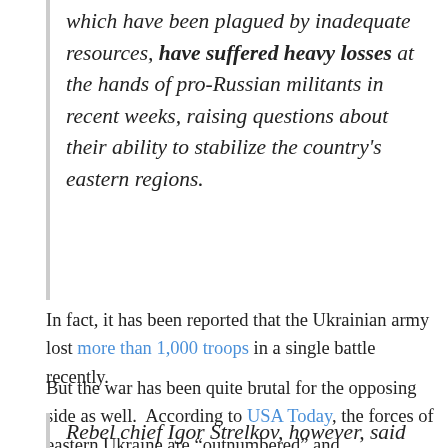which have been plagued by inadequate resources, have suffered heavy losses at the hands of pro-Russian militants in recent weeks, raising questions about their ability to stabilize the country's eastern regions.
In fact, it has been reported that the Ukrainian army lost more than 1,000 troops in a single battle recently.
But the war has been quite brutal for the opposing side as well.  According to USA Today, the forces of eastern Ukraine are “outnumbered” and “outgunned” and are in retreat…
Rebel chief Igor Strelkov, however, said in a